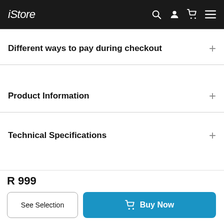iStore
Different ways to pay during checkout
Product Information
Technical Specifications
R 999
See Selection
Buy Now